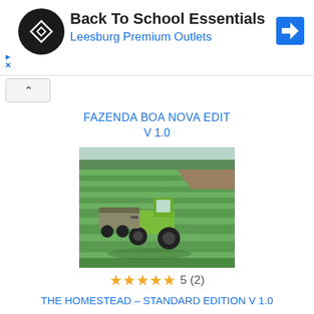[Figure (advertisement): Ad banner: Back To School Essentials at Leesburg Premium Outlets, with circular logo and navigation icon]
FAZENDA BOA NOVA EDIT
V 1.0
[Figure (screenshot): Farming Simulator screenshot showing a green tractor with trailer on a large green field with trees in background]
5 (2)
THE HOMESTEAD – STANDARD EDITION V 1.0